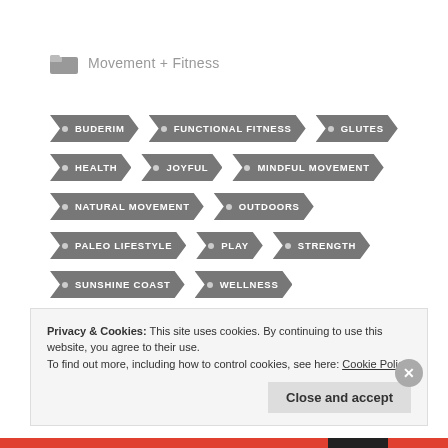Movement + Fitness
BUDERIM
FUNCTIONAL FITNESS
GLUTES
HEALTH
JOYFUL
MINDFUL MOVEMENT
NATURAL MOVEMENT
OUTDOORS
PALEO LIFESTYLE
PLAY
STRENGTH
SUNSHINE COAST
WELLNESS
Privacy & Cookies: This site uses cookies. By continuing to use this website, you agree to their use. To find out more, including how to control cookies, see here: Cookie Policy
Close and accept